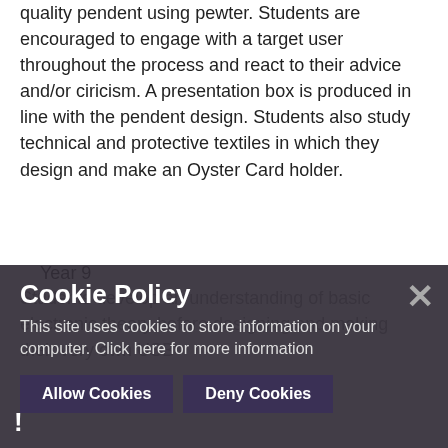quality pendent using pewter. Students are encouraged to engage with a target user throughout the process and react to their advice and/or ciricism. A presentation box is produced in line with the pendent design. Students also study technical and protective textiles in which they design and make an Oyster Card holder.
Year 9
Students develop an understanding of basic electronic theory before designing and making their very own USB powered... Dilks A information and make to the own base... to replicate a Prod Design... Visual Computing... students use computers and technology and create... only 2D...
[Figure (screenshot): Cookie Policy overlay dialog with dark semi-transparent background. Contains title 'Cookie Policy', descriptive text 'This site uses cookies to store information on your computer. Click here for more information', an X close button, and two buttons: 'Allow Cookies' and 'Deny Cookies'. A warning exclamation icon appears at bottom-left.]